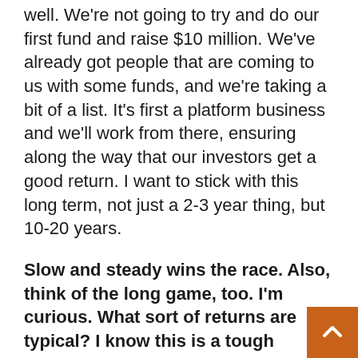well. We're not going to try and do our first fund and raise $10 million. We've already got people that are coming to us with some funds, and we're taking a bit of a list. It's first a platform business and we'll work from there, ensuring along the way that our investors get a good return. I want to stick with this long term, not just a 2-3 year thing, but 10-20 years.
Slow and steady wins the race. Also, think of the long game, too. I'm curious. What sort of returns are typical? I know this is a tough question to put in front of you because you don't want to make any promises, and you don't want to set up unrealistic expectations and then have disappointed investors for your